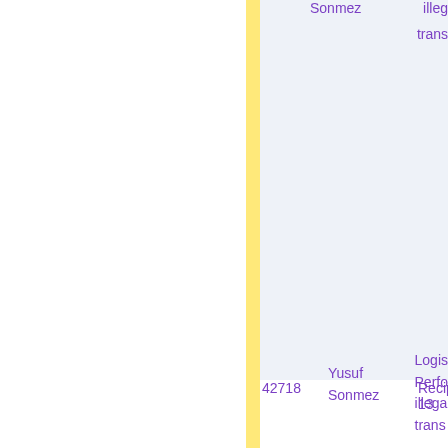| ID | Name | Recipient | Description |
| --- | --- | --- | --- |
|  | Sonmez |  | illeg
trans |
| 42718 | Yusuf Sonmez | Recipient 13 | Logis
Perfo
illega
trans |